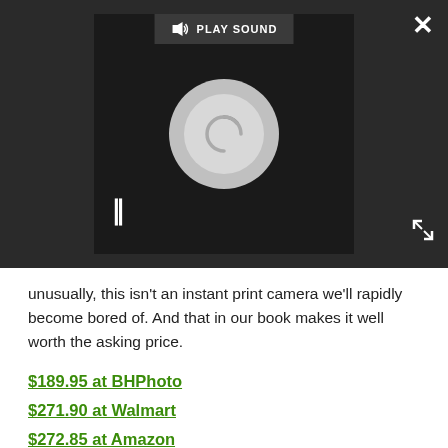[Figure (screenshot): Video player overlay with dark background, loading spinner, pause button, play sound bar, close button (X), and expand button]
unusually, this isn't an instant print camera we'll rapidly become bored of. And that in our book makes it well worth the asking price.
$189.95 at BHPhoto
$271.90 at Walmart
$272.85 at Amazon
Pros
+ Best of digital and analogue photography combined